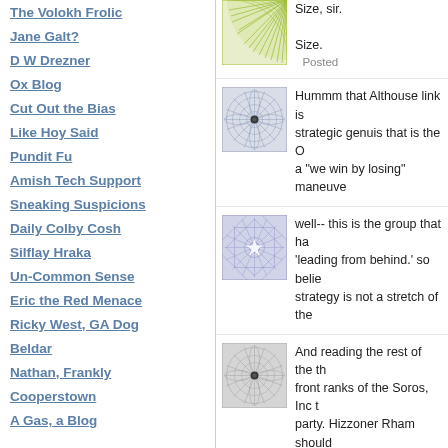The Volokh Frolic
Jane Galt?
D W Drezner
Ox Blog
Cut Out the Bias
Like Hoy Said
Pundit Fu
Amish Tech Support
Sneaking Suspicions
Daily Colby Cosh
Silflay Hraka
Un-Common Sense
Eric the Red Menace
Ricky West, GA Dog
Beldar
Nathan, Frankly
Cooperstown
A Gas, a Blog
[Figure (illustration): Green circular radiating pattern avatar]
Size, sir.

Size.
Posted
[Figure (illustration): Blue-grey circular mandala-like avatar with dark center dot]
Hummm that Althouse link is strategic genuis that is the O a "we win by losing" maneuve
[Figure (illustration): Blue-purple geometric star/snowflake pattern avatar]
well-- this is the group that ha 'leading from behind.' so belie strategy is not a stretch of the
[Figure (illustration): Grey circular mandala avatar with dark center dot]
And reading the rest of the th front ranks of the Soros, Inc t party. Hizzoner Rham should that are getting gunned down